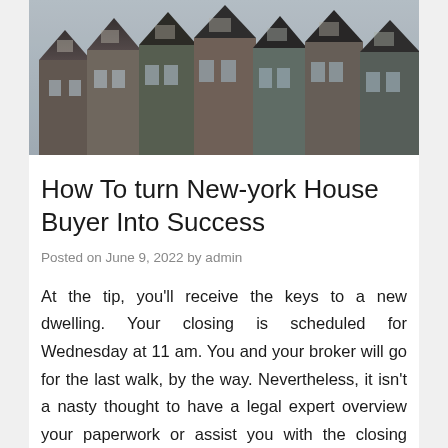[Figure (photo): Aerial/street-level photograph of a row of New York style townhouses/brownstones with dark rooftops, dormer windows, and varied facades.]
How To turn New-york House Buyer Into Success
Posted on June 9, 2022 by admin
At the tip, you'll receive the keys to a new dwelling. Your closing is scheduled for Wednesday at 11 am. You and your broker will go for the last walk, by the way. Nevertheless, it isn't a nasty thought to have a legal expert overview your paperwork or assist you with the closing process. This implies that you just would not have a lot of time. You probably have already acquired the notice. Closing will take about